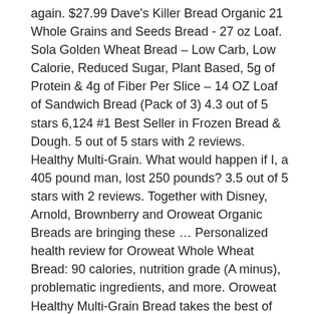again. $27.99 Dave's Killer Bread Organic 21 Whole Grains and Seeds Bread - 27 oz Loaf. Sola Golden Wheat Bread – Low Carb, Low Calorie, Reduced Sugar, Plant Based, 5g of Protein & 4g of Fiber Per Slice – 14 OZ Loaf of Sandwich Bread (Pack of 3) 4.3 out of 5 stars 6,124 #1 Best Seller in Frozen Bread & Dough. 5 out of 5 stars with 2 reviews. Healthy Multi-Grain. What would happen if I, a 405 pound man, lost 250 pounds? 3.5 out of 5 stars with 2 reviews. Together with Disney, Arnold, Brownberry and Oroweat Organic Breads are bringing these … Personalized health review for Oroweat Whole Wheat Bread: 90 calories, nutrition grade (A minus), problematic ingredients, and more. Oroweat Healthy Multi-Grain Bread takes the best of the best grains and serves them up in one soft, delicious slice. 4 out of 5 stars with 1 reviews. 5 out of 5 stars with 3 reviews. Oroweat Whole Wheat Bread. It was perfectly good bread, just nearly expired. Our Breads recipes are unique blends if grains, seeds and nuts that give each of our varieties the delicious taste & nutrition you love. Browse our wide selection of Sandwich Bread for Delivery or Drive Up & Go to pick up at the